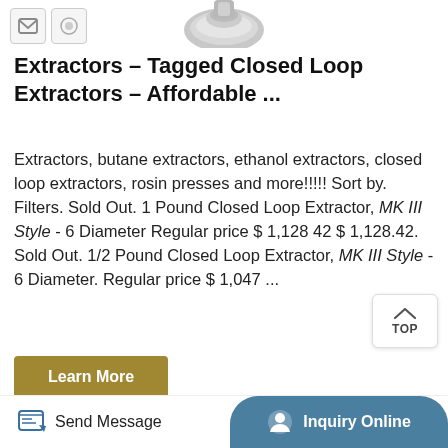[Figure (photo): Small icon thumbnails top left and a product image (metal extractor part) partially visible at top center]
Extractors – Tagged Closed Loop Extractors – Affordable ...
Extractors, butane extractors, ethanol extractors, closed loop extractors, rosin presses and more!!!!! Sort by. Filters. Sold Out. 1 Pound Closed Loop Extractor, MK III Style - 6 Diameter Regular price $ 1,128 42 $ 1,128.42. Sold Out. 1/2 Pound Closed Loop Extractor, MK III Style - 6 Diameter. Regular price $ 1,047 ...
[Figure (photo): Metal extractor component (chrome/silver) partially visible at bottom center of page]
Send Message   Inquiry Online